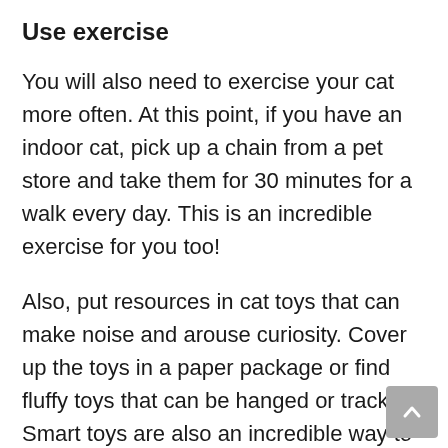Use exercise
You will also need to exercise your cat more often. At this point, if you have an indoor cat, pick up a chain from a pet store and take them for 30 minutes for a walk every day. This is an incredible exercise for you too!
Also, put resources in cat toys that can make noise and arouse curiosity. Cover up the toys in a paper package or find fluffy toys that can be hanged or tracked. Smart toys are also an incredible way to keep your cat